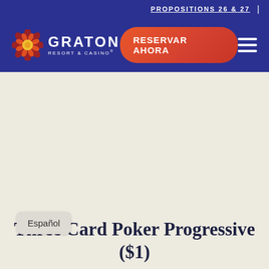PROPOSITIONS 26 & 27  |
[Figure (logo): Graton Resort & Casino logo with decorative flower icon and white text]
RESERVAR AHORA
Three Card Poker Progressive ($1)
Español